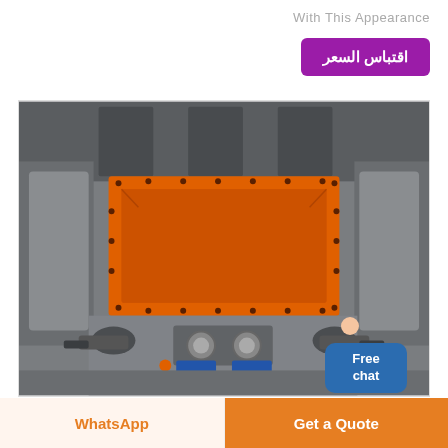With This Appearance
اقتباس السعر
[Figure (photo): Industrial machine interior showing a large orange rectangular hopper/chute centered in a gray metal housing, with mechanical components visible below including motors and pumps. The machine appears to be some kind of industrial powder or material handling equipment.]
Free chat
WhatsApp
Get a Quote